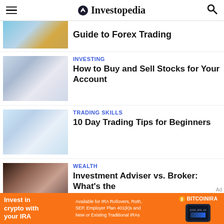Investopedia
Guide to Forex Trading
INVESTING
How to Buy and Sell Stocks for Your Account
TRADING SKILLS
10 Day Trading Tips for Beginners
WEALTH
Investment Adviser vs. Broker: What's the
[Figure (infographic): BitcoinIRA advertisement banner: orange background with 'Invest in crypto with your IRA' text, availability info for IRA Rollovers Roth SEP Employer Plan 401(k)s and New or Existing Traditional IRAs, BitcoinIRA logo, and phone mockup showing account balance $320,858.43]